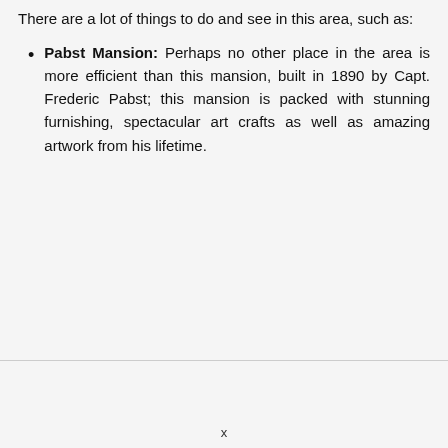There are a lot of things to do and see in this area, such as:
Pabst Mansion: Perhaps no other place in the area is more efficient than this mansion, built in 1890 by Capt. Frederic Pabst; this mansion is packed with stunning furnishing, spectacular art crafts as well as amazing artwork from his lifetime.
x